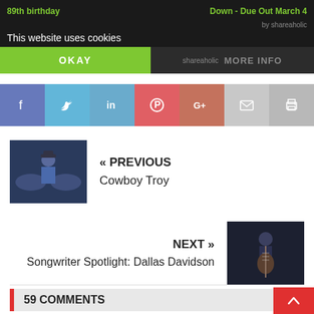89th birthday | Down - Due Out March 4
This website uses cookies
[Figure (screenshot): Cookie consent banner with OKAY and MORE INFO buttons]
[Figure (screenshot): Social sharing bar with Facebook, Twitter, LinkedIn, Pinterest, Google+, email, and print buttons]
[Figure (photo): Cowboy Troy album/artist thumbnail - man with wings graphic]
« PREVIOUS
Cowboy Troy
NEXT »
Songwriter Spotlight: Dallas Davidson
[Figure (photo): Dallas Davidson playing guitar thumbnail]
59 COMMENTS
judy says:
AUGUST 13, 2011 AT 10:40 AM